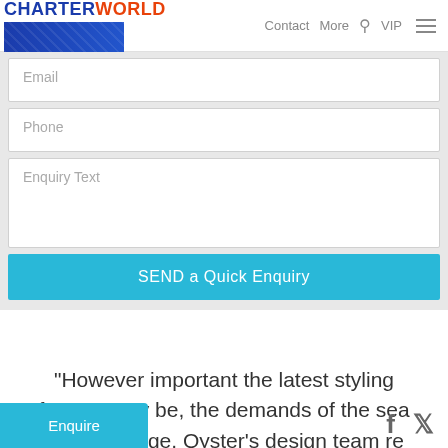CHARTERWORLD  Contact  More  VIP
Name
Email
Phone
Enquiry Text
SEND a Quick Enquiry
"However important the latest styling feature may be, the demands of the sea never change. Oyster's design team re that behind the handcrafted